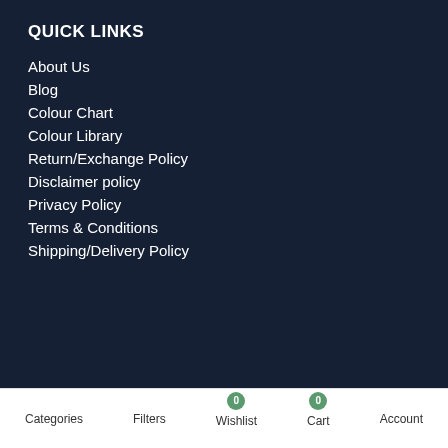QUICK LINKS
About Us
Blog
Colour Chart
Colour Library
Return/Exchange Policy
Disclaimer policy
Privacy Policy
Terms & Conditions
Shipping/Delivery Policy
Categories  Filters  Wishlist 0  Cart 0  Account